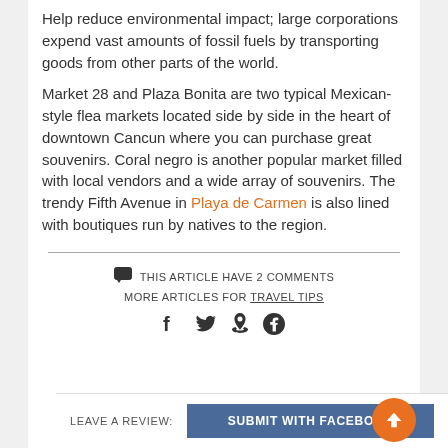Help reduce environmental impact; large corporations expend vast amounts of fossil fuels by transporting goods from other parts of the world.
Market 28 and Plaza Bonita are two typical Mexican-style flea markets located side by side in the heart of downtown Cancun where you can purchase great souvenirs. Coral negro is another popular market filled with local vendors and a wide array of souvenirs. The trendy Fifth Avenue in Playa de Carmen is also lined with boutiques run by natives to the region.
THIS ARTICLE HAVE 2 COMMENTS
MORE ARTICLES FOR TRAVEL TIPS
LEAVE A REVIEW:
SUBMIT WITH FACEBOOK